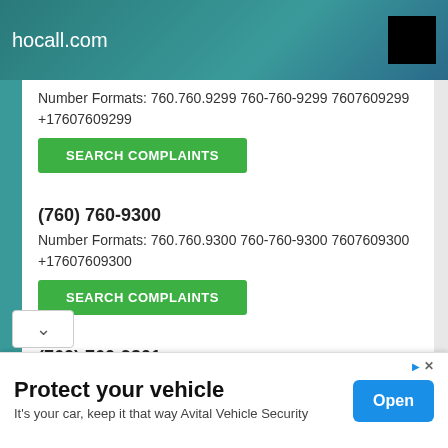hocall.com
Number Formats: 760.760.9299 760-760-9299 7607609299 +17607609299
SEARCH COMPLAINTS
(760) 760-9300
Number Formats: 760.760.9300 760-760-9300 7607609300 +17607609300
SEARCH COMPLAINTS
(760) 760-9301
Number Formats: 760.760.9301 760-760-9301 7607609301 +17607609301
Protect your vehicle
It's your car, keep it that way Avital Vehicle Security